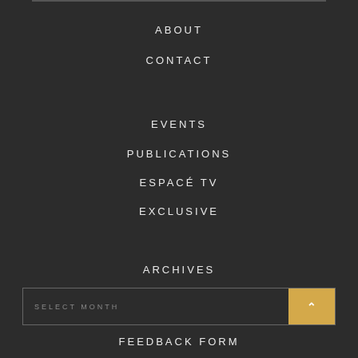ABOUT
CONTACT
EVENTS
PUBLICATIONS
ESPACÉ TV
EXCLUSIVE
ARCHIVES
SELECT MONTH
FEEDBACK FORM